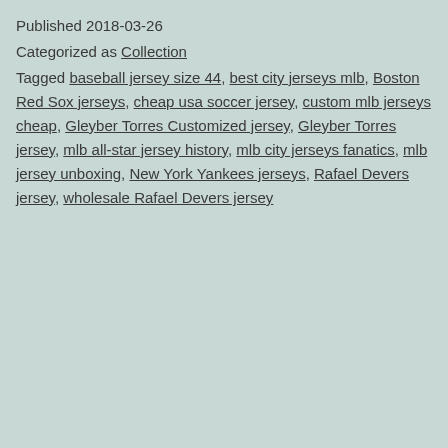Published 2018-03-26
Categorized as Collection
Tagged baseball jersey size 44, best city jerseys mlb, Boston Red Sox jerseys, cheap usa soccer jersey, custom mlb jerseys cheap, Gleyber Torres Customized jersey, Gleyber Torres jersey, mlb all-star jersey history, mlb city jerseys fanatics, mlb jersey unboxing, New York Yankees jerseys, Rafael Devers jersey, wholesale Rafael Devers jersey